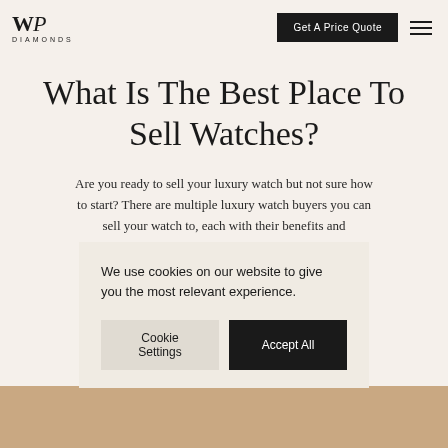[Figure (logo): WP Diamonds logo with stylized W and cursive P, DIAMONDS text below]
Get A Price Quote
What Is The Best Place To Sell Watches?
Are you ready to sell your luxury watch but not sure how to start? There are multiple luxury watch buyers you can sell your watch to, each with their benefits and
We use cookies on our website to give you the most relevant experience.
Cookie Settings   Accept All